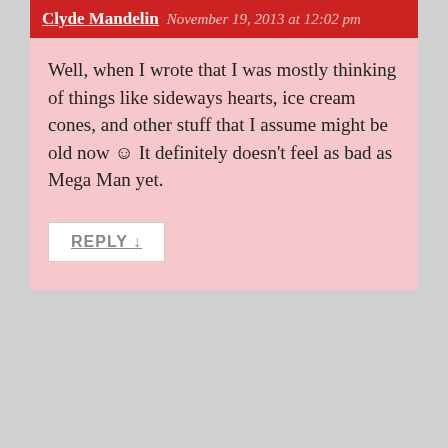Clyde Mandelin  November 19, 2013 at 12:02 pm
Well, when I wrote that I was mostly thinking of things like sideways hearts, ice cream cones, and other stuff that I assume might be old now ø It definitely doesn’t feel as bad as Mega Man yet.
REPLY ↓
Benjy  November 19, 2013 at 3:04 pm
“Sideways heart Pokémon?” Are you referring to Luvdisc by any chance? That little fishy might be simple in design, but a lot of thought goes into each and every Pokémon when they make ’em. Including things such as their habitat, diet, what they look like from every angle, the mythology surrounding them etc. Luvdisc is supposed to be a symbol of romance in the Pokémon world. If a couple finds a